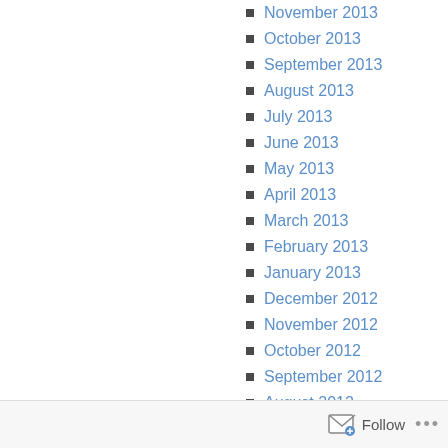November 2013
October 2013
September 2013
August 2013
July 2013
June 2013
May 2013
April 2013
March 2013
February 2013
January 2013
December 2012
November 2012
October 2012
September 2012
August 2012
Follow